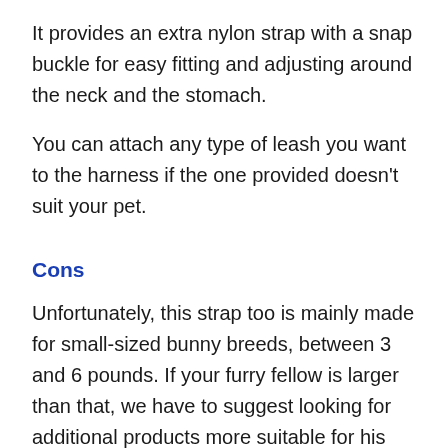It provides an extra nylon strap with a snap buckle for easy fitting and adjusting around the neck and the stomach.
You can attach any type of leash you want to the harness if the one provided doesn't suit your pet.
Cons
Unfortunately, this strap too is mainly made for small-sized bunny breeds, between 3 and 6 pounds. If your furry fellow is larger than that, we have to suggest looking for additional products more suitable for his weight and height.
Another negative aspect that some of the customers mentioned about this harness is that the leash is rather short, so don't expect to give your bunny too much freedom